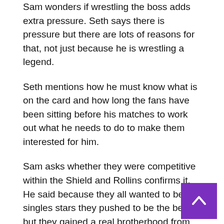Sam wonders if wrestling the boss adds extra pressure. Seth says there is pressure but there are lots of reasons for that, not just because he is wrestling a legend.
Seth mentions how he must know what is on the card and how long the fans have been sitting before his matches to work out what he needs to do to make them interested for him.
Sam asks whether they were competitive within the Shield and Rollins confirms it. He said because they all wanted to be singles stars they pushed to be the best but they gained a real brotherhood from being in the group. He said there was never any jealousy.
Shield break up
Seth reveals that the turn came very quickly and out of the blue, as they were hoping for a long babyface run but admitted it worked really well.